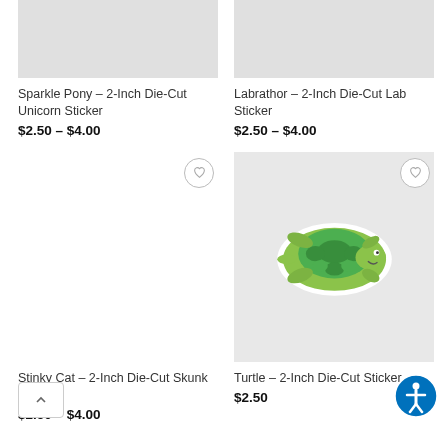[Figure (photo): Product image placeholder for Sparkle Pony sticker (grey box, top cropped)]
Sparkle Pony – 2-Inch Die-Cut Unicorn Sticker
$2.50 – $4.00
[Figure (photo): Product image placeholder for Labrathor sticker (grey box, top cropped)]
Labrathor – 2-Inch Die-Cut Lab Sticker
$2.50 – $4.00
[Figure (photo): Empty product image area for Stinky Cat sticker with wishlist heart button]
Stinky Cat – 2-Inch Die-Cut Skunk Sticker
$2.50 – $4.00
[Figure (photo): Turtle die-cut sticker on grey background — green cartoon turtle with shell, smiling]
Turtle – 2-Inch Die-Cut Sticker
$2.50